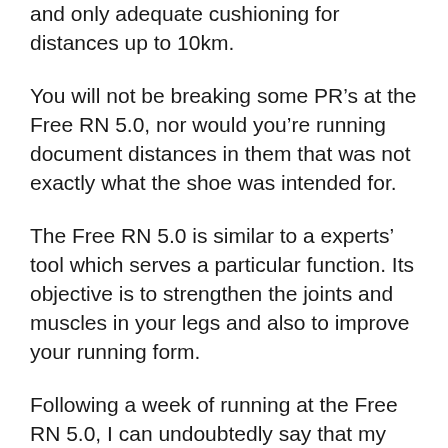and only adequate cushioning for distances up to 10km.
You will not be breaking some PR’s at the Free RN 5.0, nor would you’re running document distances in them that was not exactly what the shoe was intended for.
The Free RN 5.0 is similar to a experts’ tool which serves a particular function. Its objective is to strengthen the joints and muscles in your legs and also to improve your running form.
Following a week of running at the Free RN 5.0, I can undoubtedly say that my form has enhanced and once I land, I property beneath my centre of gravity rather than